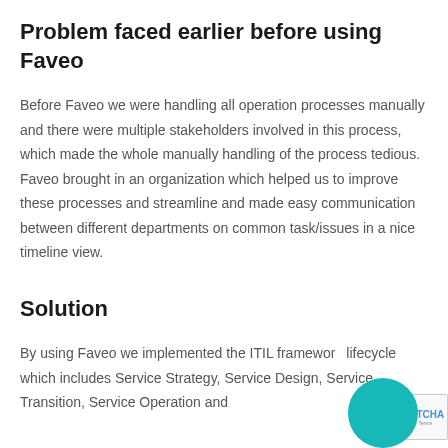Problem faced earlier before using Faveo
Before Faveo we were handling all operation processes manually and there were multiple stakeholders involved in this process, which made the whole manually handling of the process tedious. Faveo brought in an organization which helped us to improve these processes and streamline and made easy communication between different departments on common task/issues in a nice timeline view.
Solution
By using Faveo we implemented the ITIL framework lifecycle which includes Service Strategy, Service Design, Service Transition, Service Operation and